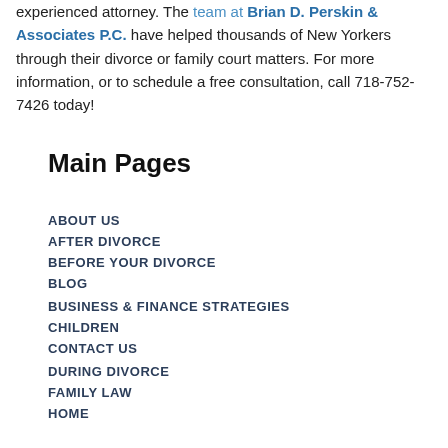experienced attorney. The team at Brian D. Perskin & Associates P.C. have helped thousands of New Yorkers through their divorce or family court matters. For more information, or to schedule a free consultation, call 718-752-7426 today!
Main Pages
ABOUT US
AFTER DIVORCE
BEFORE YOUR DIVORCE
BLOG
BUSINESS & FINANCE STRATEGIES
CHILDREN
CONTACT US
DURING DIVORCE
FAMILY LAW
HOME